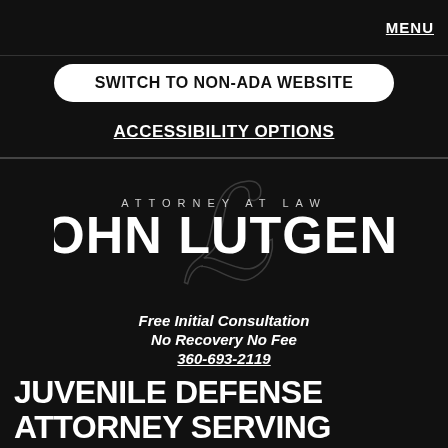MENU
SWITCH TO NON-ADA WEBSITE
ACCESSIBILITY OPTIONS
[Figure (logo): John Lutgens Attorney at Law logo with stylized cursive L on dark background]
Free Initial Consultation
No Recovery No Fee
360-693-2119
JUVENILE DEFENSE ATTORNEY SERVING VANCOUVER & PORTLAND METRO AREA